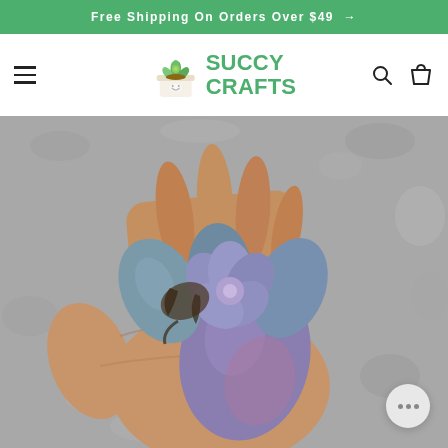Free Shipping On Orders Over $49 →
[Figure (logo): Succy Crafts logo with a cartoon succulent in a pot and green bold text reading SUCCY CRAFTS]
[Figure (photo): A hand holding a blue-purple succulent plant with roots visible and a large plump leaf, photographed outdoors against a gray gravel background]